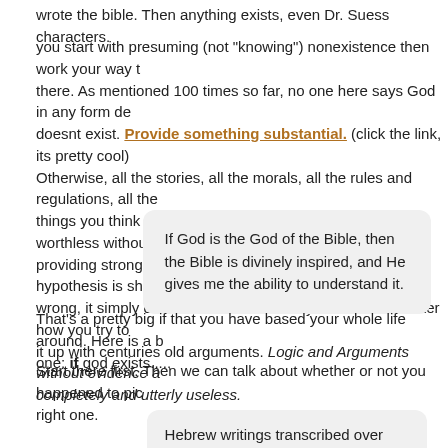wrote the bible. Then anything exists, even Dr. Suess characters.
you start with presuming (not "knowing") nonexistence then work your way there. As mentioned 100 times so far, no one here says God in any form doesnt exist. Provide something substantial. (click the link, its pretty cool) Otherwise, all the stories, all the morals, all the rules and regulations, all the things you think other people should do are completely worthless without providing strong evidence of existence. Until the null hypothesis is shown to wrong, it simply doesnt matter what is in your book no matter how you try to it up with centuries old arguments. Logic and Arguments without evidence a completely and utterly useless.
If God is the God of the Bible, then the Bible is divinely inspired, and He gives me the ability to understand it.
That's a pretty big if that you have based your whole life around. Here is a b one: if god exists.....
Start there first. Then we can talk about whether or not you happened to pic right one.
Hebrew writings transcribed over several times maintains a 99.9 (etc) accuracy, given the lack of diacritical marks to leave room for error.